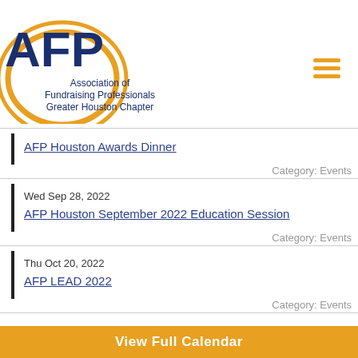[Figure (logo): AFP - Association of Fundraising Professionals Greater Houston Chapter logo with golden arc and dark blue text]
AFP Houston Awards Dinner
Category: Events
Wed Sep 28, 2022
AFP Houston September 2022 Education Session
Category: Events
Thu Oct 20, 2022
AFP LEAD 2022
Category: Events
View Full Calendar